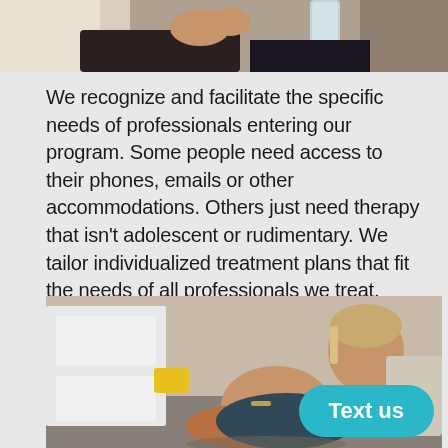[Figure (photo): Top portion of a photo showing a person sitting with hands visible, holding a glass, with a white pillow in the background.]
We recognize and facilitate the specific needs of professionals entering our program. Some people need access to their phones, emails or other accommodations. Others just need therapy that isn’t adolescent or rudimentary. We tailor individualized treatment plans that fit the needs of all professionals we treat.
[Figure (photo): A young person with short hair sitting on the floor leaning back against furniture, knees drawn up, looking upward. A yellow item and white furniture visible on the left side.]
Text us